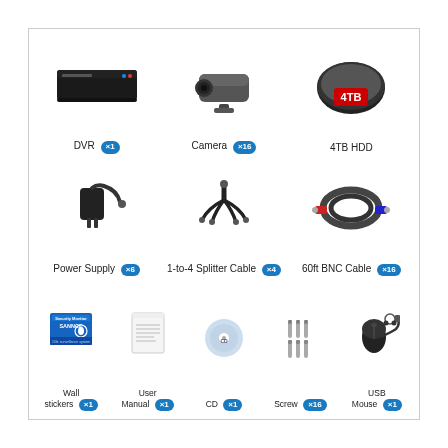[Figure (illustration): Product contents grid showing: DVR x1, Camera x16, 4TB HDD, Power Supply x6, 1-to-4 Splitter Cable x4, 60ft BNC Cable x16, Wall stickers x1, User Manual x1, CD x1, Screw x16, USB Mouse x1]
DVR x1
Camera x16
4TB HDD
Power Supply x6
1-to-4 Splitter Cable x4
60ft BNC Cable x16
Wall stickers x1
User Manual x1
CD x1
Screw x16
USB Mouse x1